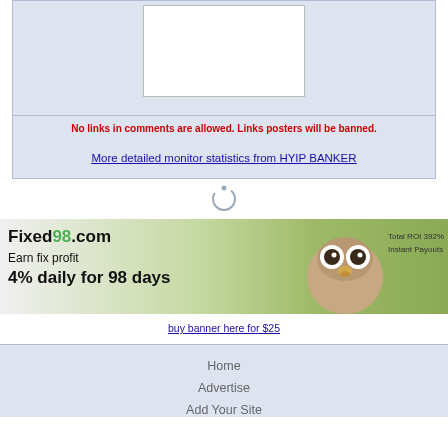[Figure (other): CAPTCHA or image placeholder box (white rectangle with border)]
No links in comments are allowed. Links posters will be banned.
More detailed monitor statistics from HYIP BANKER
[Figure (other): Loading spinner icon (circular arrow icon)]
[Figure (other): Fixed98.com banner advertisement showing owl image, text: Fixed98.com Earn fix profit 4% daily for 98 days, Total ROI 392%, Instant Payouts]
buy banner here for $25
Home
Advertise
Add Your Site